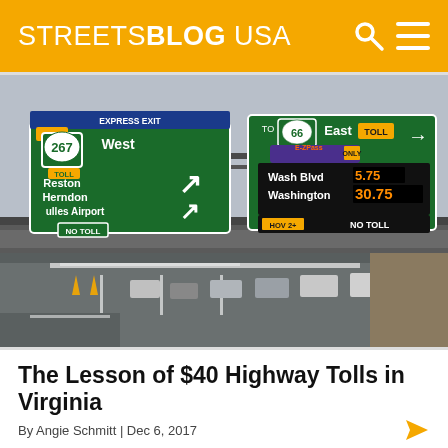STREETSBLOG USA
[Figure (photo): Highway overpass showing green directional signs for Route 267 West toward Reston, Herndon, Dulles Airport (NO TOLL) and Route 66 East TOLL with dynamic toll pricing display showing: Wash Blvd 5.75, Washington 30.75, HOV 2+ NO TOLL. Cars visible on highway below.]
The Lesson of $40 Highway Tolls in Virginia
By Angie Schmitt | Dec 6, 2017